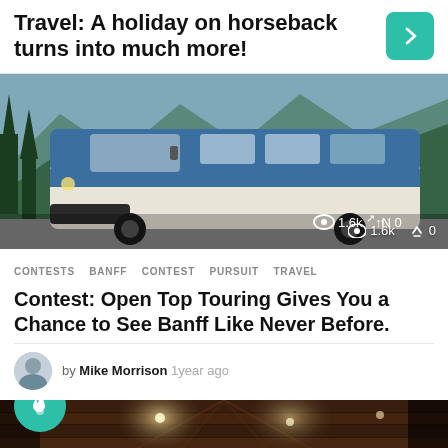Travel: A holiday on horseback turns into much more!
[Figure (photo): Blue and white vintage bus/van parked on a road with forest and mountains in background. Stats overlay: 1.6k views, 0 shares.]
CONTESTS  BANFF  CONTEST  PURSUIT  TRAVEL
Contest: Open Top Touring Gives You a Chance to See Banff Like Never Before.
by Mike Morrison  1year ago
[Figure (photo): Interior of a wooden cabin or luxury lodge with vaulted ceiling and warm lighting.]